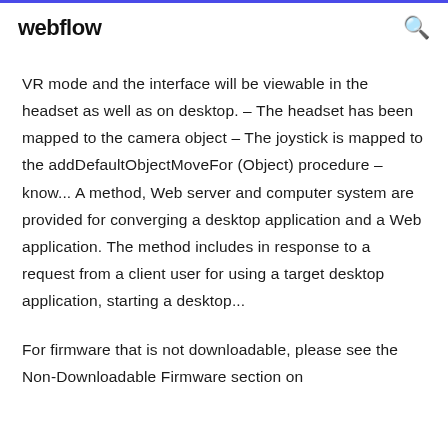webflow
VR mode and the interface will be viewable in the headset as well as on desktop. – The headset has been mapped to the camera object – The joystick is mapped to the addDefaultObjectMoveFor (Object) procedure – know... A method, Web server and computer system are provided for converging a desktop application and a Web application. The method includes in response to a request from a client user for using a target desktop application, starting a desktop...
For firmware that is not downloadable, please see the Non-Downloadable Firmware section on